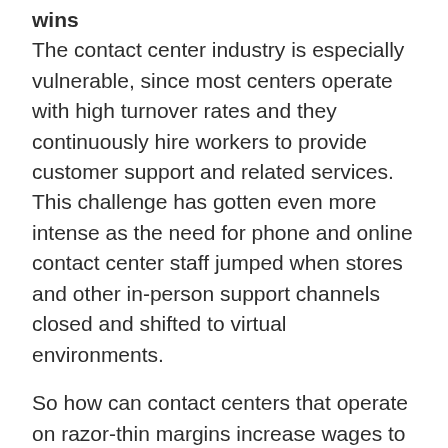wins
The contact center industry is especially vulnerable, since most centers operate with high turnover rates and they continuously hire workers to provide customer support and related services. This challenge has gotten even more intense as the need for phone and online contact center staff jumped when stores and other in-person support channels closed and shifted to virtual environments.
So how can contact centers that operate on razor-thin margins increase wages to attract, hire, and retain workers without